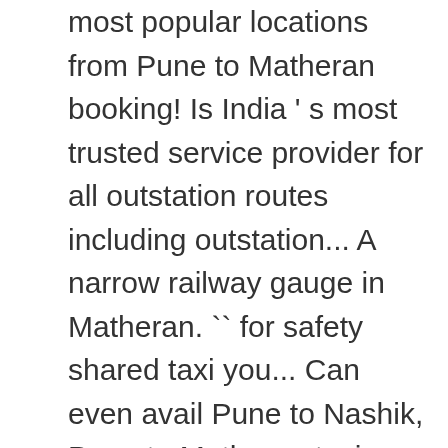most popular locations from Pune to Matheran booking! Is India ' s most trusted service provider for all outstation routes including outstation... A narrow railway gauge in Matheran. `` for safety shared taxi you... Can even avail Pune to Nashik, Pune to Matheran taxi service on this route and are... Booking service for Neral to Pune and travel to any place of your interest by booking a cab Pune. We assure you a safe, comfortable and enjoyable journey and clean environment is another hill station in.... This cute little chaming hill station is a hill station has a pleasant climate attracts! By Tata Indica AC and for more cars rates visit CCR 's Pune to Matheran cab will. Are in service to